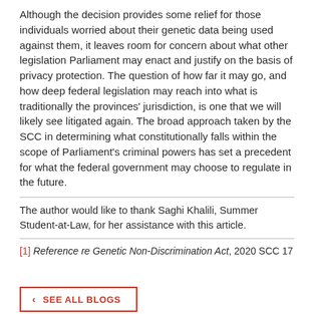Although the decision provides some relief for those individuals worried about their genetic data being used against them, it leaves room for concern about what other legislation Parliament may enact and justify on the basis of privacy protection. The question of how far it may go, and how deep federal legislation may reach into what is traditionally the provinces' jurisdiction, is one that we will likely see litigated again. The broad approach taken by the SCC in determining what constitutionally falls within the scope of Parliament's criminal powers has set a precedent for what the federal government may choose to regulate in the future.
The author would like to thank Saghi Khalili, Summer Student-at-Law, for her assistance with this article.
[1] Reference re Genetic Non-Discrimination Act, 2020 SCC 17